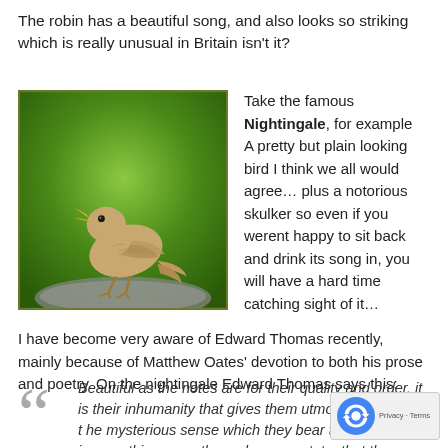The robin has a beautiful song, and also looks so striking which is really unusual in Britain isn't it?
[Figure (photo): A nightingale bird perched on a rock, beak open, singing, against a green background. Framed with a dark olive/green border.]
Take the famous Nightingale, for example
A pretty but plain looking bird I think we all would agree… plus a notorious skulker so even if you werent happy to sit back and drink its song in, you will have a hard time catching sight of it…
I have become very aware of Edward Thomas recently, mainly because of Matthew Oates' devotion to both his prose and poetry. On the nightingale Edward Thomas says this:
Beautiful as the notes are for their quality and order, it is their inhumanity that gives them utmost fascination, the mysterious sense which they bear to us that earth is something more than a human estate, that there are